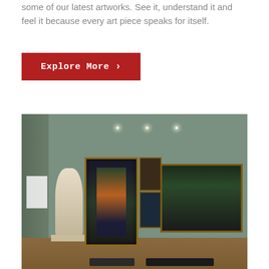some of our latest artworks. See it, understand it and feel it because every art piece speaks for itself.
[Figure (illustration): Red button/link labeled 'Explore More >' on a white background]
[Figure (photo): Interior of an art gallery with sage green walls, spotlights on the ceiling, a marble sculpture of a nude figure, several large framed paintings including portraits and a landscape with cattle, wooden floor, and dark benches in the foreground.]